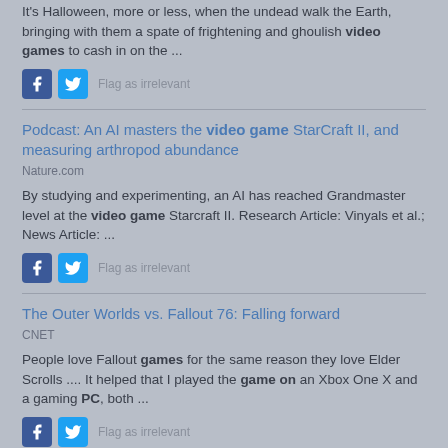It's Halloween, more or less, when the undead walk the Earth, bringing with them a spate of frightening and ghoulish video games to cash in on the ...
Flag as irrelevant
Podcast: An AI masters the video game StarCraft II, and measuring arthropod abundance
Nature.com
By studying and experimenting, an AI has reached Grandmaster level at the video game Starcraft II. Research Article: Vinyals et al.; News Article: ...
Flag as irrelevant
The Outer Worlds vs. Fallout 76: Falling forward
CNET
People love Fallout games for the same reason they love Elder Scrolls .... It helped that I played the game on an Xbox One X and a gaming PC, both ...
Flag as irrelevant